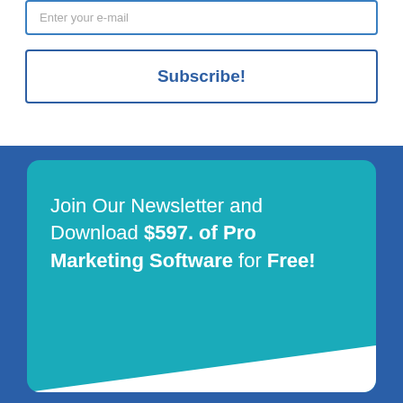Enter your e-mail
Subscribe!
Join Our Newsletter and Download $597. of Pro Marketing Software for Free!